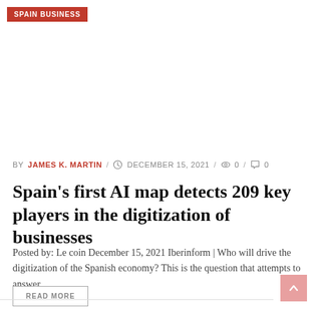SPAIN BUSINESS
BY JAMES K. MARTIN / DECEMBER 15, 2021 / 0 / 0
Spain’s first AI map detects 209 key players in the digitization of businesses
Posted by: Le coin December 15, 2021 Iberinform | Who will drive the digitization of the Spanish economy? This is the question that attempts to answer ...
READ MORE